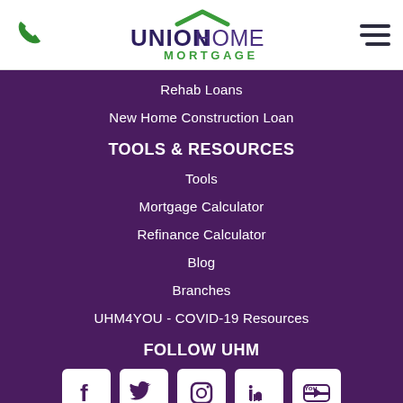[Figure (logo): Union Home Mortgage logo with green roof graphic, UNION bold dark purple, HOME lighter purple, MORTGAGE green text below]
Rehab Loans
New Home Construction Loan
TOOLS & RESOURCES
Tools
Mortgage Calculator
Refinance Calculator
Blog
Branches
UHM4YOU - COVID-19 Resources
FOLLOW UHM
[Figure (infographic): Row of 5 social media icons: Facebook, Twitter, Instagram, LinkedIn, YouTube — white rounded square icons on purple background]